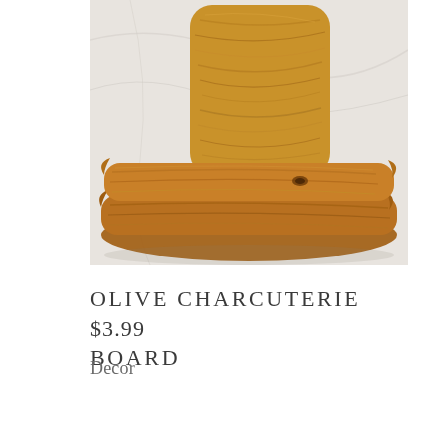[Figure (photo): Photograph of olive wood charcuterie boards stacked on a white marble surface. Two natural-edge boards with visible wood grain patterns, one standing upright behind and two stacked flat in front.]
OLIVE CHARCUTERIE $3.99 BOARD
Decor